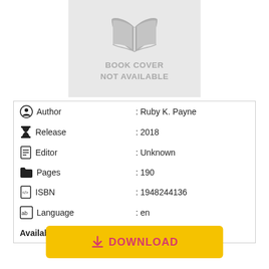[Figure (illustration): Gray book cover placeholder with open book icon and text 'BOOK COVER NOT AVAILABLE']
| Author | : Ruby K. Payne |
| Release | : 2018 |
| Editor | : Unknown |
| Pages | : 190 |
| ISBN | : 1948244136 |
| Language | : en |
| Available for | : [platform icons: Apple, Windows, Linux, Android] |
DOWNLOAD